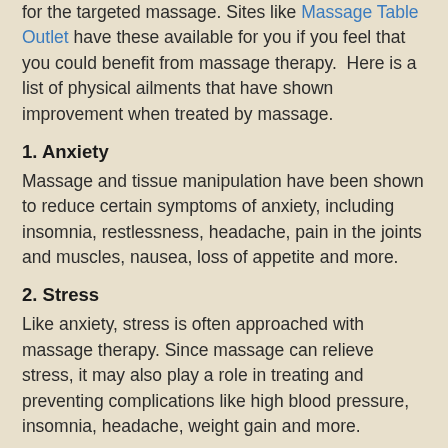for the targeted massage. Sites like Massage Table Outlet have these available for you if you feel that you could benefit from massage therapy.  Here is a list of physical ailments that have shown improvement when treated by massage.
1. Anxiety
Massage and tissue manipulation have been shown to reduce certain symptoms of anxiety, including insomnia, restlessness, headache, pain in the joints and muscles, nausea, loss of appetite and more.
2. Stress
Like anxiety, stress is often approached with massage therapy. Since massage can relieve stress, it may also play a role in treating and preventing complications like high blood pressure, insomnia, headache, weight gain and more.
3. Digestive Disorders
In patients with IBS, chronic constipation and other digestive